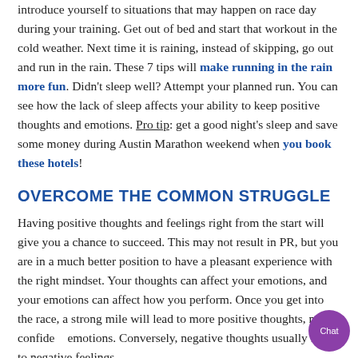introduce yourself to situations that may happen on race day during your training. Get out of bed and start that workout in the cold weather. Next time it is raining, instead of skipping, go out and run in the rain. These 7 tips will make running in the rain more fun. Didn't sleep well? Attempt your planned run. You can see how the lack of sleep affects your ability to keep positive thoughts and emotions. Pro tip: get a good night's sleep and save some money during Austin Marathon weekend when you book these hotels!
OVERCOME THE COMMON STRUGGLE
Having positive thoughts and feelings right from the start will give you a chance to succeed. This may not result in PR, but you are in a much better position to have a pleasant experience with the right mindset. Your thoughts can affect your emotions, and your emotions can affect how you perform. Once you get into the race, a strong mile will lead to more positive thoughts, more confident emotions. Conversely, negative thoughts usually lead to negative feelings.